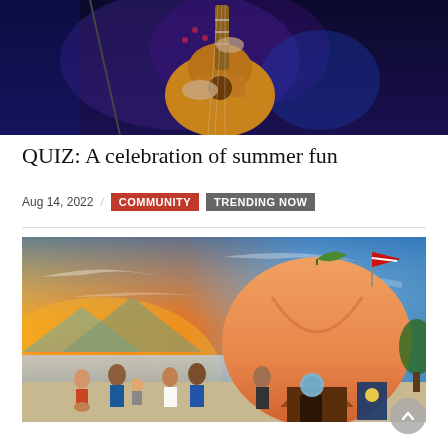[Figure (photo): Musician playing acoustic guitar on a dark concert stage with blue stage lighting]
QUIZ: A celebration of summer fun
Aug 14, 2022 / COMMUNITY TRENDING NOW
[Figure (photo): Outdoor summer scene at sunset with people gathered near a large peach-shaped building, mountains and lake in background, dramatic orange and blue sky]